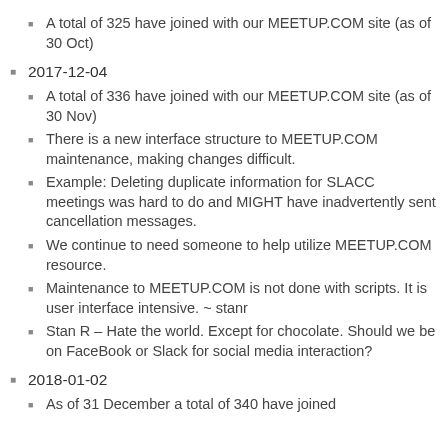A total of 325 have joined with our MEETUP.COM site (as of 30 Oct)
2017-12-04
A total of 336 have joined with our MEETUP.COM site (as of 30 Nov)
There is a new interface structure to MEETUP.COM maintenance, making changes difficult.
Example: Deleting duplicate information for SLACC meetings was hard to do and MIGHT have inadvertently sent cancellation messages.
We continue to need someone to help utilize MEETUP.COM resource.
Maintenance to MEETUP.COM is not done with scripts. It is user interface intensive. ~ stanr
Stan R – Hate the world. Except for chocolate. Should we be on FaceBook or Slack for social media interaction?
2018-01-02
As of 31 December a total of 340 have joined